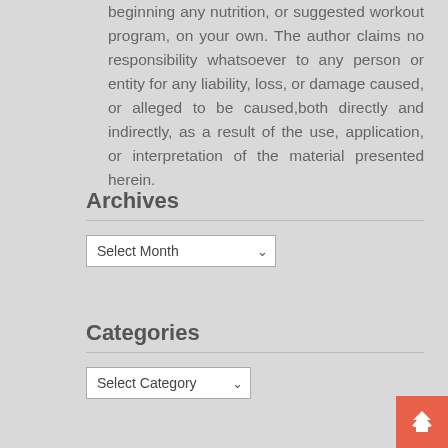beginning any nutrition, or suggested workout program, on your own. The author claims no responsibility whatsoever to any person or entity for any liability, loss, or damage caused, or alleged to be caused,both directly and indirectly, as a result of the use, application, or interpretation of the material presented herein.
Archives
Select Month
Categories
Select Category